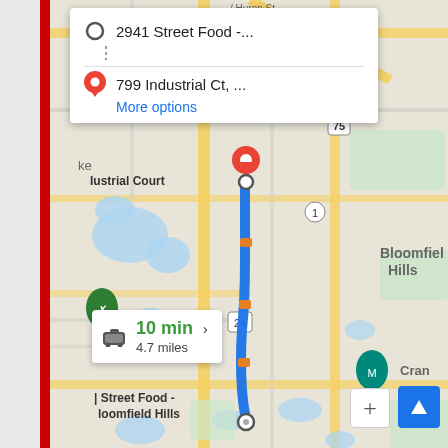[Figure (screenshot): Google Maps screenshot showing driving directions from 2941 Street Food (Bloomfield Hills) to 799 Industrial Ct. The route is shown as a blue line traveling north along a road, with orange traffic markers. The estimated travel time is 10 min covering 4.7 miles. A directions popup at the top shows the origin (2941 Street Food -...) and destination (799 Industrial Ct, ...) with a 'More options' link. The map shows Bloomfield Hills area with lakes, roads including route 24, 1, and 75, and green areas.]